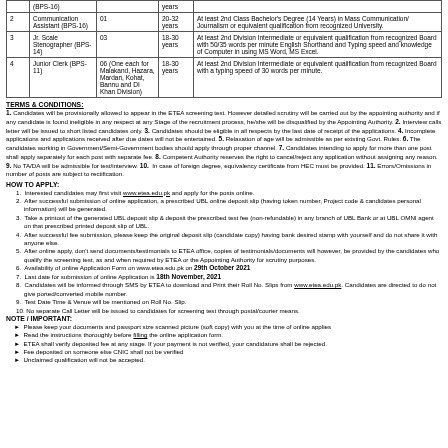| Sr. | Post | No. of Posts | Age Limit | Minimum Qualification / Experience |
| --- | --- | --- | --- | --- |
|  | (BPS-16) |  | years |  |
| 2 | Communication Assistant (BPS-16) | 01 | 20-32 years | At least 2nd Class Bachelor's Degree (14 Years) in Mass Communication/ Journalism or equivalent qualification from recognized University. |
| 3 | Jr. Scale Stenographer (BPS-14) | 03 | 18-30 years | At least 2nd Division Intermediate or equivalent qualification from recognized Board with 50/35 words per minute English Shorthand and Typing speed and knowledge of Computer in using MS Word, MS Excel. |
| 4 | Junior Clerk (BPS-11) | 06 (One each for Malakand, Hazara, Mardan, Kohat, Bannu and DI Khan Division) | 18-30 years | At least 2nd Division Intermediate or equivalent qualification from recognized Board with a typing speed of 30 words per minute. |
TERMS & CONDITIONS:
1. Candidates will be provisionally allowed to appear in the ETEA screening test. However detailed scrutiny will be carried out by the appointing authority and if any candidate is found ineligible in any respect at any Stage of the recruitment process, he/she will be disqualified by the Appointing Authority. 2. Interview calls letter will be issued to short listed candidates only. 3. Candidates should be eligible in all respects by the last date of receipt of the applications. 4. Incomplete applications and applications received after due dates will not be entertained. 5. Relaxation of age will be admissible as per existing Govt. Rules. 6. The candidates working in Government/Semi-Government bodies should apply through proper channel. 7. Candidates intending to apply for more than one post shall apply separately for each post with separate fee. 8. Competent Authority reserves the right to cancel/reject any application without assigning any reason. 9. No TA/DA will be admissible for test/interview. 10. In case of foreign degree, equivalency certificate from HEC must be provided. 11. Errors/Omissions in number of posts are subject to rectification.
HOW TO APPLY:
Interested candidates may first visit www.etea.edu.pk and apply for the posts online.
After successful submission of online application, a prescribed UBL online deposit slip (having token number, Project code & candidates personal information) will be generated.
Take a printout of the generated UBL deposit slip & deposit the prescribed test fee (non-refundable) in any branch of UBL Bank or at UBL OMNI agent on that prescribed printed deposit slip of UBL.
After successful fee submission, please keep the original deposit slip (candidate copy) having bank desired stamp with yourself and do not share it with anyone else.
After online apply, don't send documents/testimonials to ETEA office, copies of testimonials/documents will however, be provided by the candidates who qualify the screening test, as and when required by ETEA or the Appointing Authority for scrutiny purposes.
Availability of online Application Form on www.etea.edu.pk on 29th October 2021
Last date for submission of online Application is 18th November, 2021
Candidates will be informed through SMS by ETEA to download and Print their Roll No. Slips from www.etea.edu.pk. Candidates are directed to do not give ported/converted mobile number.
Test Date Time & Venue will be mentioned on Roll No. Slip.
No separate Call Letter will be issued to candidates for screening test through postal/courier means.
NOTE / IMPORTANT:
Please keep your documents and passport size scanned picture (soft copy) with you at the time of online applies
Read the instructions thoroughly before filling the online application form.
ETEA shall verify deposited fee at any stage. If your payment is not verified, your candidature shall be rejected.
Fee deposited on someone else CNIC shall not be verified
Unclaimed qualification will not be accepted.